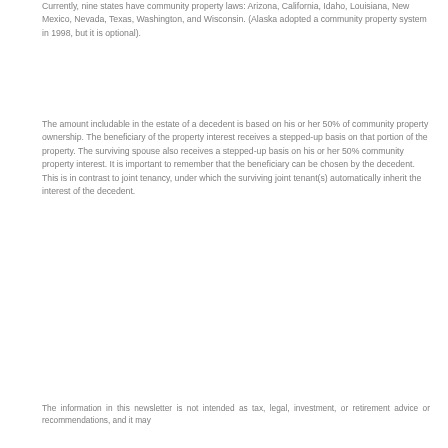Currently, nine states have community property laws: Arizona, California, Idaho, Louisiana, New Mexico, Nevada, Texas, Washington, and Wisconsin. (Alaska adopted a community property system in 1998, but it is optional).
The amount includable in the estate of a decedent is based on his or her 50% of community property ownership. The beneficiary of the property interest receives a stepped-up basis on that portion of the property. The surviving spouse also receives a stepped-up basis on his or her 50% community property interest. It is important to remember that the beneficiary can be chosen by the decedent. This is in contrast to joint tenancy, under which the surviving joint tenant(s) automatically inherit the interest of the decedent.
The information in this newsletter is not intended as tax, legal, investment, or retirement advice or recommendations, and it may